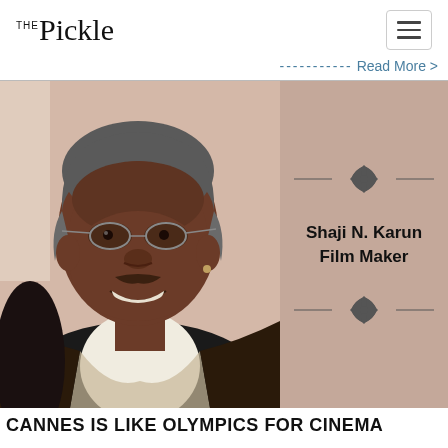The Pickle
----------- Read More >
[Figure (photo): Portrait photo of Shaji N. Karun smiling, wearing glasses and a scarf, on a pinkish-beige background with decorative ornaments and name card reading 'Shaji N. Karun Film Maker']
CANNES IS LIKE OLYMPICS FOR CINEMA